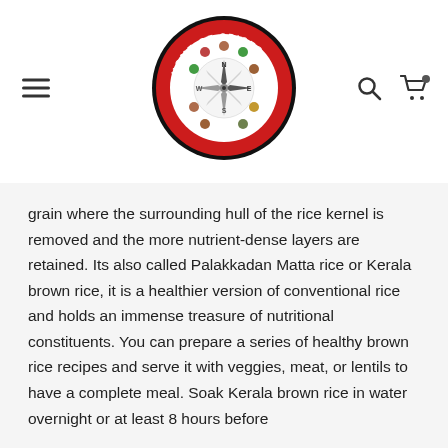Home of Spices Kerala logo with hamburger menu, search, and cart icons
grain where the surrounding hull of the rice kernel is removed and the more nutrient-dense layers are retained. Its also called Palakkadan Matta rice or Kerala brown rice, it is a healthier version of conventional rice and holds an immense treasure of nutritional constituents. You can prepare a series of healthy brown rice recipes and serve it with veggies, meat, or lentils to have a complete meal. Soak Kerala brown rice in water overnight or at least 8 hours before